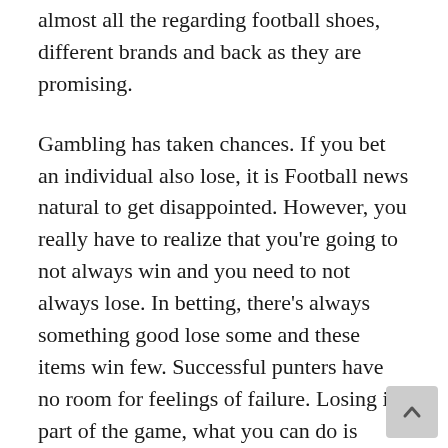almost all the regarding football shoes, different brands and back as they are promising.
Gambling has taken chances. If you bet an individual also lose, it is Football news natural to get disappointed. However, you really have to realize that you're going to not always win and you need to not always lose. In betting, there's always something good lose some and these items win few. Successful punters have no room for feelings of failure. Losing is part of the game, what you can do is accept the loss, analyse why it happened, subsequently bounce back again again.
Football is really a game dependant upon starting strength. If you can't turn all of it on quickly, the rest of your speed is abused. Trust me. I personally